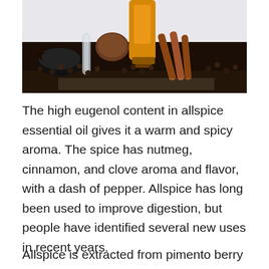[Figure (photo): A photograph showing allspice essential oil bottle (amber glass), spices including cinnamon sticks, allspice berries, nutmeg, a glass vial, and a black spice jar lid, arranged on a reflective surface.]
The high eugenol content in allspice essential oil gives it a warm and spicy aroma. The spice has nutmeg, cinnamon, and clove aroma and flavor, with a dash of pepper. Allspice has long been used to improve digestion, but people have identified several new uses in recent years.
Allspice is extracted from pimento berry and